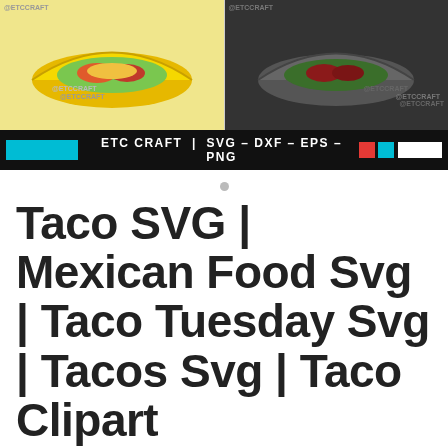[Figure (screenshot): Product banner image showing ETC Craft taco SVG designs. Top portion shows taco clipart images (yellow/colorful taco on left, dark background taco on right) with '@ETCCRAFT' watermarks and honeycomb pattern. Bottom black bar reads 'ETC CRAFT | SVG - DXF - EPS - PNG' with color swatches (red, cyan) and white rectangle.]
Taco SVG | Mexican Food Svg | Taco Tuesday Svg | Tacos Svg | Taco Clipart
$5.00
$2.99
ON SALE
Designer: ETC Craft
Purchase includes: